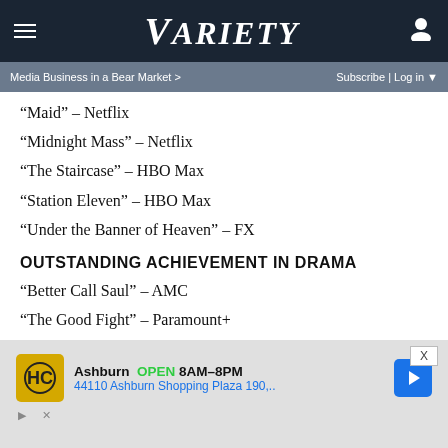VARIETY — Media Business in a Bear Market > | Subscribe | Log in
“Maid” – Netflix
“Midnight Mass” – Netflix
“The Staircase” – HBO Max
“Station Eleven” – HBO Max
“Under the Banner of Heaven” – FX
OUTSTANDING ACHIEVEMENT IN DRAMA
“Better Call Saul” – AMC
“The Good Fight” – Paramount+
“Pachinko” – Apple TV+
“Severance” – Apple TV+
“Squid Game” – Netflix
[Figure (other): Advertisement banner: Ashburn OPEN 8AM-8PM, 44110 Ashburn Shopping Plaza 190, with HC logo and navigation arrow icon]